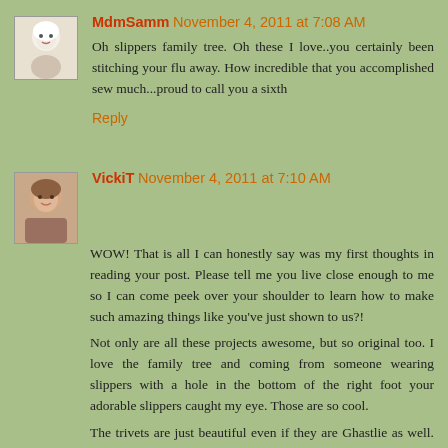[Figure (photo): Avatar/profile image of MdmSamm - cartoon or illustrated character with white hair]
MdmSamm November 4, 2011 at 7:08 AM
Oh slippers family tree. Oh these I love..you certainly been stitching your flu away. How incredible that you accomplished sew much...proud to call you a sixth
Reply
[Figure (photo): Avatar/profile image of VickiT - photo of a woman]
VickiT November 4, 2011 at 7:10 AM
WOW! That is all I can honestly say was my first thoughts in reading your post. Please tell me you live close enough to me so I can come peek over your shoulder to learn how to make such amazing things like you've just shown to us?!
Not only are all these projects awesome, but so original too. I love the family tree and coming from someone wearing slippers with a hole in the bottom of the right foot your adorable slippers caught my eye. Those are so cool.
The trivets are just beautiful even if they are Ghastlie as well. lol I really like the way you've added the flying geese and windmills